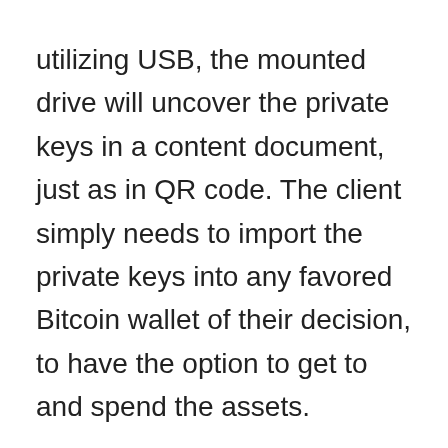utilizing USB, the mounted drive will uncover the private keys in a content document, just as in QR code. The client simply needs to import the private keys into any favored Bitcoin wallet of their decision, to have the option to get to and spend the assets.
Once unsealed, an OpenDime cannot be sealed again. It is like breaking your piggy-bank to access